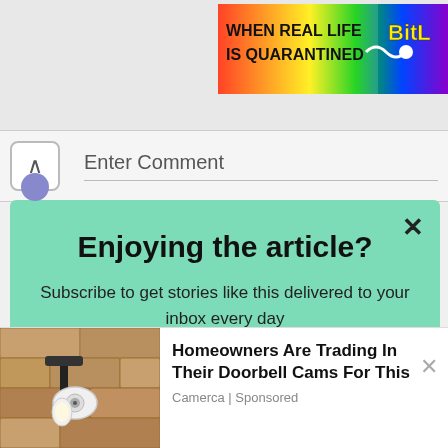[Figure (screenshot): Partial rainbow ad banner with text 'WHEN REAL LIFE IS QUARANTINED' and 'BitL' branding on right side]
Enter Comment
Enjoying the article?
Subscribe to get stories like this delivered to your inbox every day
Enter your email
Subscribe
[Figure (photo): Outdoor wall-mounted security camera on stone wall]
Homeowners Are Trading In Their Doorbell Cams For This
Camerca | Sponsored